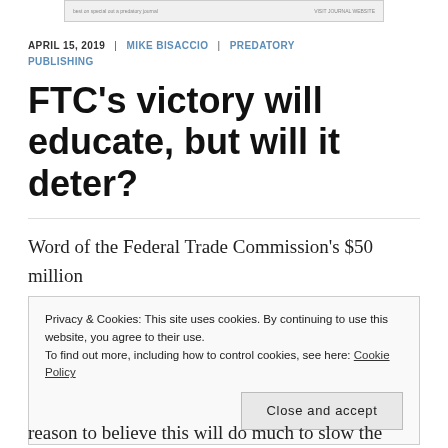[Figure (screenshot): Partial screenshot of a webpage header/banner strip at the top of the page]
APRIL 15, 2019 | MIKE BISACCIO | PREDATORY PUBLISHING
FTC's victory will educate, but will it deter?
Word of the Federal Trade Commission's $50 million court judgment against OMICS International and its
Privacy & Cookies: This site uses cookies. By continuing to use this website, you agree to their use. To find out more, including how to control cookies, see here: Cookie Policy
Close and accept
reason to believe this will do much to slow the